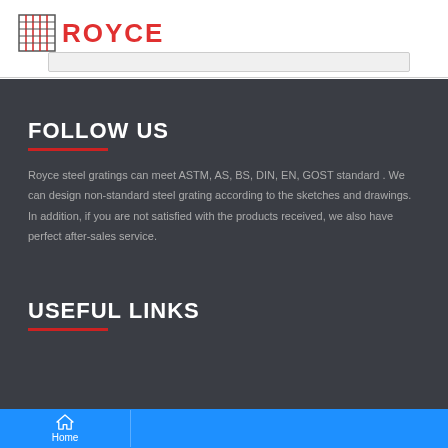ROYCE
FOLLOW US
Royce steel gratings can meet ASTM, AS, BS, DIN, EN, GOST standard . We can design non-standard steel grating according to the sketches and drawings. In addition, if you are not satisfied with the products received, we also have perfect after-sales service.
USEFUL LINKS
Home